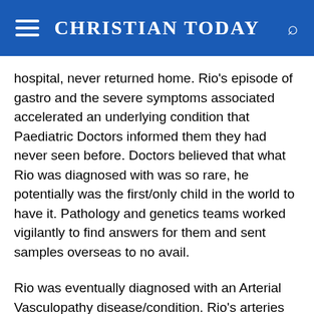CHRISTIAN TODAY
hospital, never returned home. Rio's episode of gastro and the severe symptoms associated accelerated an underlying condition that Paediatric Doctors informed them they had never seen before. Doctors believed that what Rio was diagnosed with was so rare, he potentially was the first/only child in the world to have it. Pathology and genetics teams worked vigilantly to find answers for them and sent samples overseas to no avail.
Rio was eventually diagnosed with an Arterial Vasculopathy disease/condition. Rio's arteries failed to supply enough blood to all his major organs and the blood vessels around his body. Despite major aggressive medical intervention, they were eventually told that his condition would progress and his body would become increasingly deteriorated.